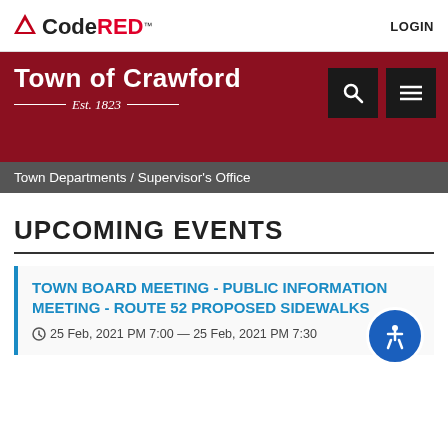CodeRED™ LOGIN
[Figure (logo): CodeRED logo with triangle icon and LOGIN link in top navigation bar]
Town of Crawford Est. 1823
[Figure (other): Search and hamburger menu icon buttons on dark red header]
Town Departments / Supervisor's Office
UPCOMING EVENTS
TOWN BOARD MEETING - PUBLIC INFORMATION MEETING - ROUTE 52 PROPOSED SIDEWALKS
25 Feb, 2021 PM 7:00 — 25 Feb, 2021 PM 7:30